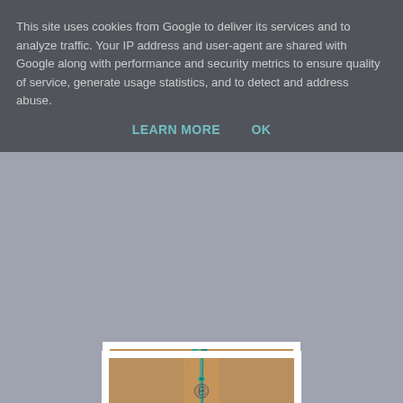This site uses cookies from Google to deliver its services and to analyze traffic. Your IP address and user-agent are shared with Google along with performance and security metrics to ensure quality of service, generate usage statistics, and to detect and address abuse.
LEARN MORE   OK
[Figure (photo): Photo of a knot/lanyard on a cork board background with a blue and brown decorative emblem or logo]
Next a diamond lanyard knot followed by a six strand round sinnet.
Lastly a fully tucked Mathew walker and a four strand round sinnet attachment loop.
[Figure (photo): Photo of a teal/turquoise knot or sinnet attachment loop against a cork board background]